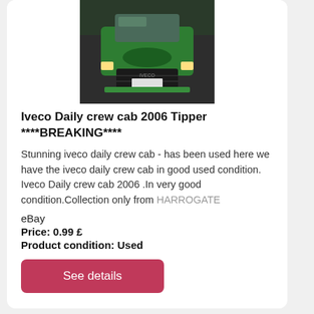[Figure (photo): Front view of a green Iveco Daily crew cab van/truck]
Iveco Daily crew cab 2006 Tipper ****BREAKING****
Stunning iveco daily crew cab - has been used here we have the iveco daily crew cab in good used condition. Iveco Daily crew cab 2006 .In very good condition.Collection only from HARROGATE
eBay
Price: 0.99 £
Product condition: Used
See details